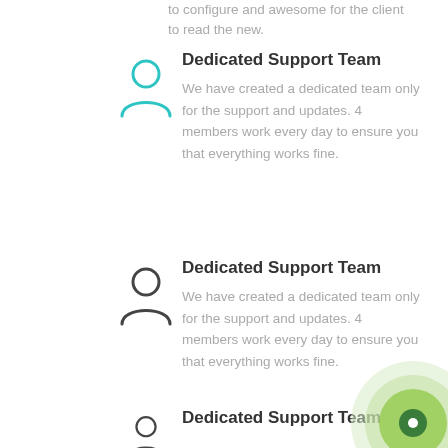to configure and awesome for the client to read the new.
[Figure (illustration): Teal/cyan outlined person/user icon]
Dedicated Support Team
We have created a dedicated team only for the support and updates. 4 members work every day to ensure you that everything works fine.
[Figure (illustration): Dark gray outlined person/user icon]
Dedicated Support Team
We have created a dedicated team only for the support and updates. 4 members work every day to ensure you that everything works fine.
[Figure (illustration): Decorative concentric green circles with dark center dot]
[Figure (illustration): Dark gray outlined person/user icon (partial, bottom of page)]
Dedicated Support Team